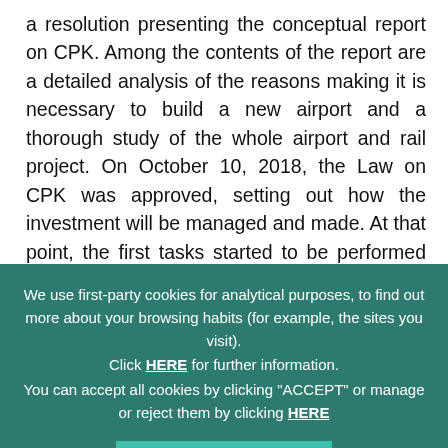a resolution presenting the conceptual report on CPK. Among the contents of the report are a detailed analysis of the reasons making it is necessary to build a new airport and a thorough study of the whole airport and rail project. On October 10, 2018, the Law on CPK was approved, setting out how the investment will be managed and made. At that point, the first tasks started to be performed through a business entity (Centralny
Port Komunikacyjny Sp.z o.o.), created to manage the project. A company wholly-owned by the Polish government.
[Figure (screenshot): Cookie consent overlay with teal/dark green background. Text reads: 'We use first-party cookies for analytical purposes, to find out more about your browsing habits (for example, the sites you visit). Click HERE for further information. You can accept all cookies by clicking "ACCEPT" or manage or reject them by clicking HERE'. Below is a teal ACCEPT button.]
CPK will be built around 37 kilometers west of Warsaw. This is a strategic location not only for Poland but also for the whole of central and eastern Europe from the standpoint of the various